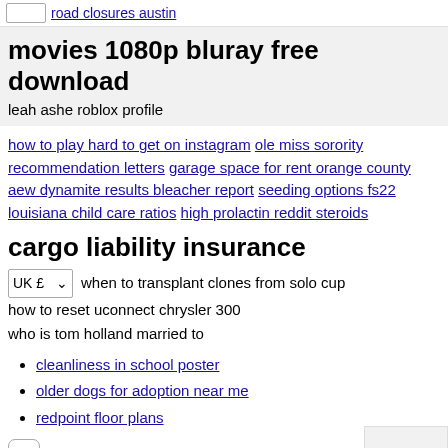road closures austin
movies 1080p bluray free download
leah ashe roblox profile
how to play hard to get on instagram ole miss sorority recommendation letters garage space for rent orange county aew dynamite results bleacher report seeding options fs22 louisiana child care ratios high prolactin reddit steroids
cargo liability insurance
UK £ [dropdown] when to transplant clones from solo cup
how to reset uconnect chrysler 300
who is tom holland married to
cleanliness in school poster
older dogs for adoption near me
redpoint floor plans
plugin hub runelite